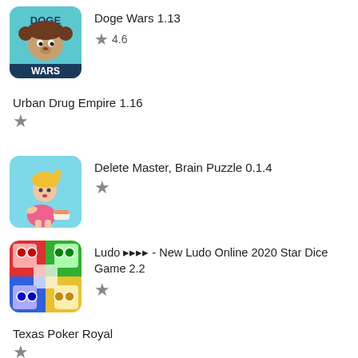[Figure (screenshot): App icon for Doge Wars - dog with Princess Leia hair on blue background with WARS text]
Doge Wars 1.13
★ 4.6
Urban Drug Empire 1.16
★
[Figure (illustration): App icon for Delete Master Brain Puzzle - cartoon blonde girl in pink dress on light blue background]
Delete Master, Brain Puzzle 0.1.4
★
[Figure (screenshot): App icon for Ludo game - colorful Ludo board with red, green, yellow, blue areas]
Ludo ＊＊＊＊ - New Ludo Online 2020 Star Dice Game 2.2
★
Texas Poker Royal
★